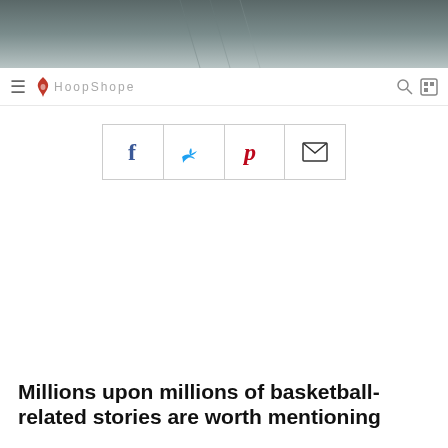[Figure (photo): Dark blurred outdoor basketball court background image at the top of the page]
navigation bar with hamburger menu, logo/bird icon, site name, and search icon
[Figure (infographic): Social sharing buttons bar with Facebook (f), Twitter (bird), Pinterest (P), and email (envelope) icons]
Millions upon millions of basketball-related stories are worth mentioning